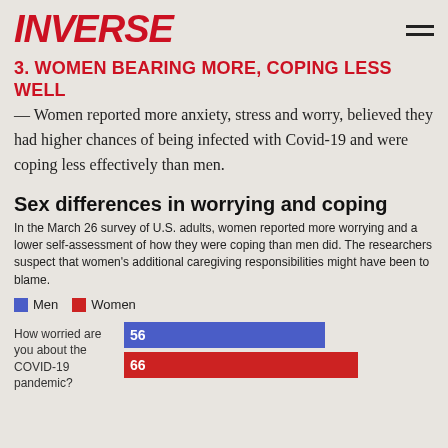INVERSE
3. WOMEN BEARING MORE, COPING LESS WELL
— Women reported more anxiety, stress and worry, believed they had higher chances of being infected with Covid-19 and were coping less effectively than men.
Sex differences in worrying and coping
In the March 26 survey of U.S. adults, women reported more worrying and a lower self-assessment of how they were coping than men did. The researchers suspect that women's additional caregiving responsibilities might have been to blame.
[Figure (grouped-bar-chart): How worried are you about the COVID-19 pandemic?]